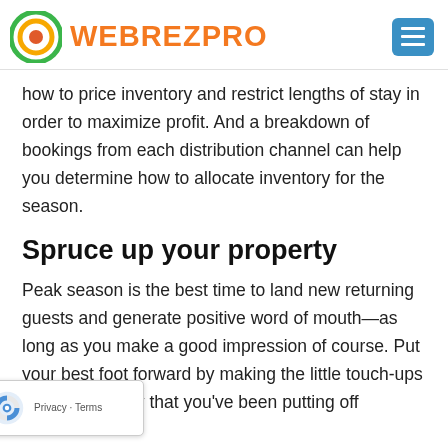WEBREZPRO
how to price inventory and restrict lengths of stay in order to maximize profit. And a breakdown of bookings from each distribution channel can help you determine how to allocate inventory for the season.
Spruce up your property
Peak season is the best time to land new returning guests and generate positive word of mouth—as long as you make a good impression of course. Put your best foot forward by making the little touch-ups to your property that you've been putting off